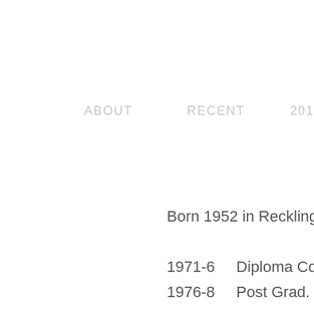ABOUT   RECENT   201
Born 1952 in Recklinghau
1971-6    Diploma Cours
1976-8    Post Grad. Car